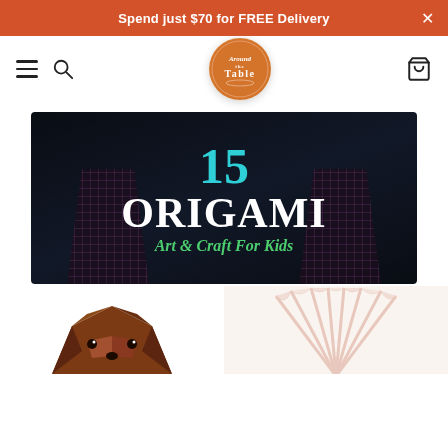Spend just $70 for FREE Delivery
[Figure (logo): Around The Table circular logo with orange background]
[Figure (illustration): Dark background promotional banner with '15 ORIGAMI Art & Craft For Kids' text, plaid shirt shapes in background]
[Figure (photo): Bottom strip showing origami dog (brown) on left and origami flower/fan shape (white/pink) on right]